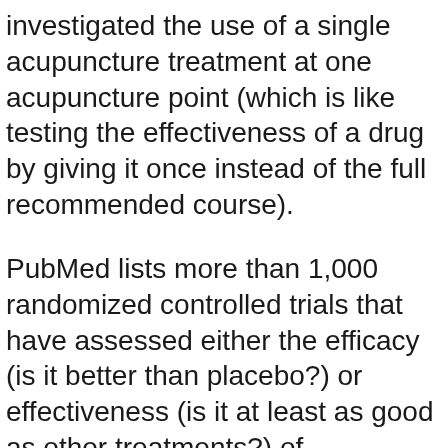investigated the use of a single acupuncture treatment at one acupuncture point (which is like testing the effectiveness of a drug by giving it once instead of the full recommended course).
PubMed lists more than 1,000 randomized controlled trials that have assessed either the efficacy (is it better than placebo?) or effectiveness (is it at least as good as other treatments?) of acupuncture. Many of these trials have been summarized in systematic, condition-specific reviews.